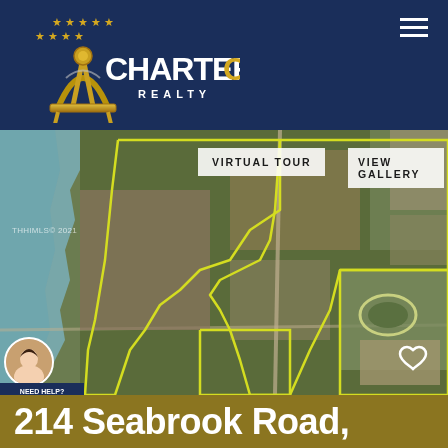[Figure (logo): CharterOne Realty logo with gold sextant instrument and stars on dark navy background]
[Figure (map): Aerial satellite view of land parcel at 214 Seabrook Road with yellow boundary lines showing property boundaries, adjacent to water on the left, and a school/sports facility on the right]
VIRTUAL TOUR
VIEW GALLERY
NEED HELP? CLICK TO LIVE CHAT
214 Seabrook Road,